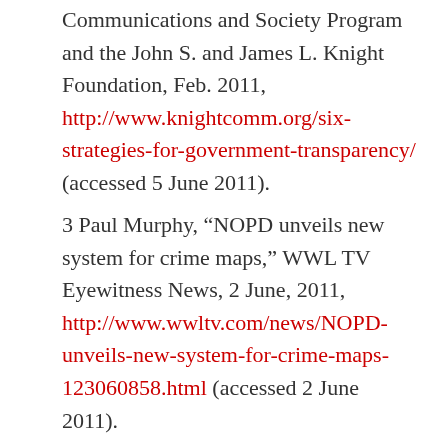Communications and Society Program and the John S. and James L. Knight Foundation, Feb. 2011, http://www.knightcomm.org/six-strategies-for-government-transparency/ (accessed 5 June 2011).
3 Paul Murphy, “NOPD unveils new system for crime maps,” WWL TV Eyewitness News, 2 June, 2011, http://www.wwltv.com/news/NOPD-unveils-new-system-for-crime-maps-123060858.html (accessed 2 June 2011).
4 City of New Orleans, Master BlightStat